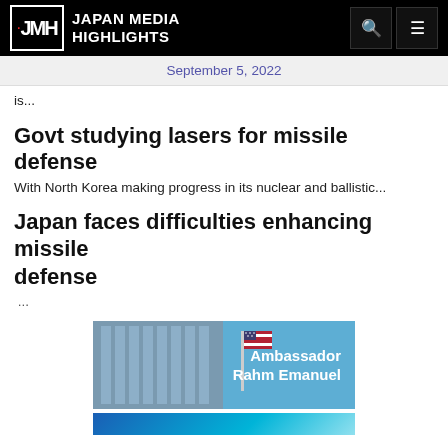JMH JAPAN MEDIA HIGHLIGHTS
September 5, 2022
is...
Govt studying lasers for missile defense
With North Korea making progress in its nuclear and ballistic...
Japan faces difficulties enhancing missile defense
...
[Figure (photo): Banner image with building and US flag, text: Ambassador Rahm Emanuel]
[Figure (photo): Blue gradient banner strip at bottom]